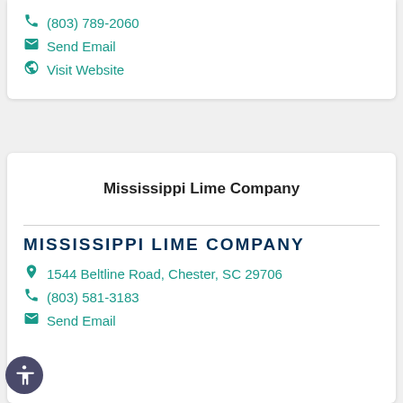📞 (803) 789-2060
@ Send Email
🌐 Visit Website
Mississippi Lime Company
MISSISSIPPI LIME COMPANY
📍 1544 Beltline Road, Chester, SC 29706
📞 (803) 581-3183
@ Send Email